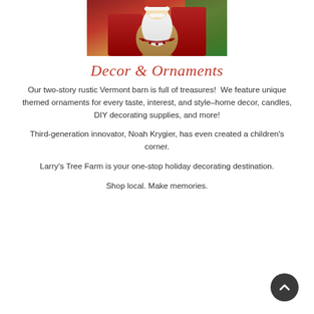[Figure (photo): Cropped photo of a Santa Claus or Father Christmas figurine/decoration with white beard, wearing red and tan costume, with green holiday background]
Decor & Ornaments
Our two-story rustic Vermont barn is full of treasures!  We feature unique themed ornaments for every taste, interest, and style–home decor, candles, DIY decorating supplies, and more!
Third-generation innovator, Noah Krygier, has even created a children's corner.
Larry's Tree Farm is your one-stop holiday decorating destination.
Shop local. Make memories.